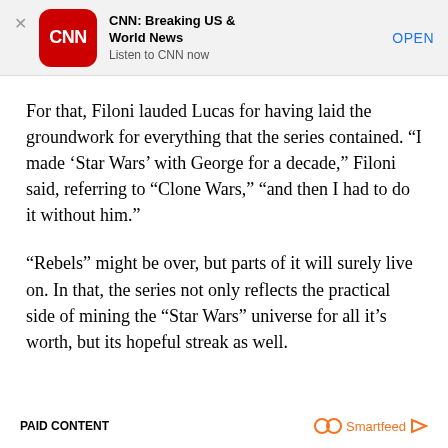[Figure (screenshot): CNN app advertisement banner with CNN red rounded square logo, text 'CNN: Breaking US & World News', 'Listen to CNN now', and an OPEN button]
For that, Filoni lauded Lucas for having laid the groundwork for everything that the series contained. “I made ‘Star Wars’ with George for a decade,” Filoni said, referring to “Clone Wars,” “and then I had to do it without him.”
“Rebels” might be over, but parts of it will surely live on. In that, the series not only reflects the practical side of mining the “Star Wars” universe for all it’s worth, but its hopeful streak as well.
PAID CONTENT    Smartfeed